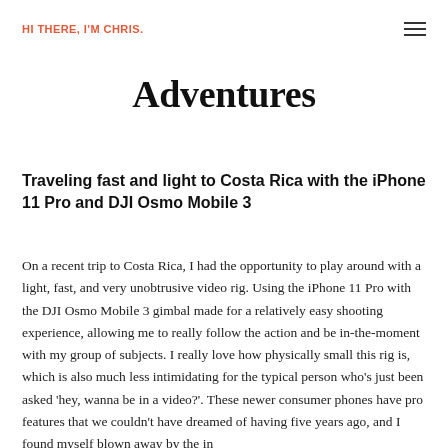HI THERE, I'M CHRIS.
Adventures
Traveling fast and light to Costa Rica with the iPhone 11 Pro and DJI Osmo Mobile 3
On a recent trip to Costa Rica, I had the opportunity to play around with a light, fast, and very unobtrusive video rig. Using the iPhone 11 Pro with the DJI Osmo Mobile 3 gimbal made for a relatively easy shooting experience, allowing me to really follow the action and be in-the-moment with my group of subjects. I really love how physically small this rig is, which is also much less intimidating for the typical person who's just been asked 'hey, wanna be in a video?'. These newer consumer phones have pro features that we couldn't have dreamed of having five years ago, and I found myself blown away by the in